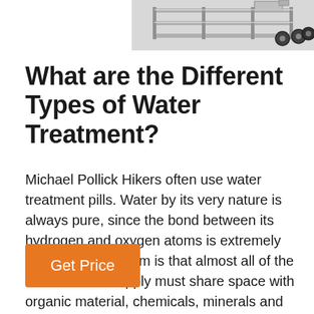[Figure (photo): Partial view of industrial water treatment machinery, showing metal frame components and rollers/wheels, visible in the upper-right corner of the page.]
What are the Different Types of Water Treatment?
Michael Pollick Hikers often use water treatment pills. Water by its very nature is always pure, since the bond between its hydrogen and oxygen atoms is extremely strong. The problem is that almost all of the world's water supply must share space with organic material, chemicals, minerals and manmade pollutants. The result is often an undrinkable solution, possibly containing deadly bacteria ...
Get Price